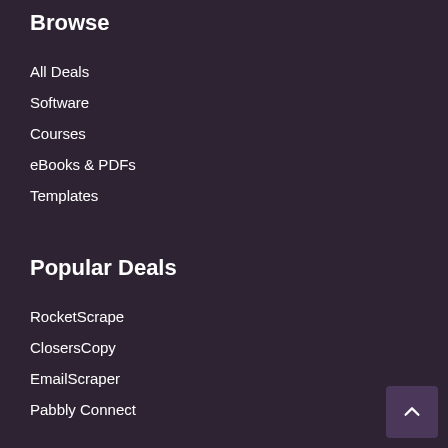Browse
All Deals
Software
Courses
eBooks & PDFs
Templates
Popular Deals
RocketScrape
ClosersCopy
EmailScraper
Pabbly Connect